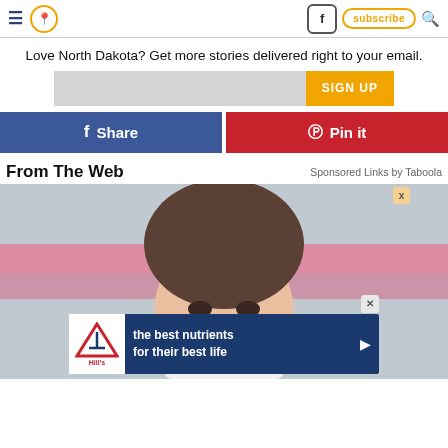Navigation header with hamburger menu, location icon, Facebook icon, subscribe button, search icon
Love North Dakota? Get more stories delivered right to your email.
[Figure (screenshot): Email signup input field with SIGN UP button]
[Figure (screenshot): Facebook Share button and Pinterest Pin it button]
From The Web
Sponsored Links by Taboola
[Figure (photo): Woman with brown hair against pink background, with Hill's pet nutrition advertisement banner overlay reading 'the best nutrients for their best life']